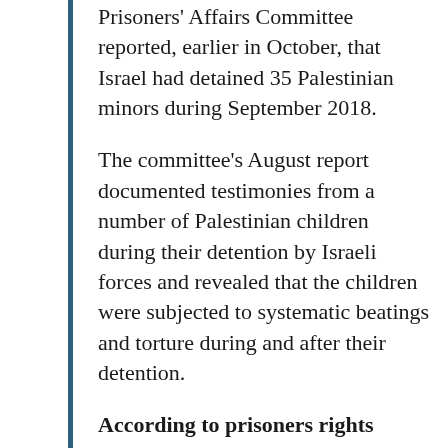Prisoners' Affairs Committee reported, earlier in October, that Israel had detained 35 Palestinian minors during September 2018.
The committee's August report documented testimonies from a number of Palestinian children during their detention by Israeli forces and revealed that the children were subjected to systematic beatings and torture during and after their detention.
According to prisoners rights group Addameer, there are